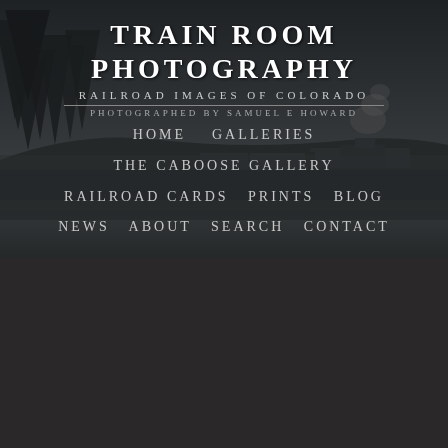[Figure (photo): Dark moody background image of a steam train in a forested mountain landscape, dark overcast sky with trees and smoke]
TRAIN ROOM PHOTOGRAPHY
RAILROAD IMAGES OF COLORADO
PHOTOGRAPHED BY SAMUEL E HOWARD
HOME
GALLERIES
THE CABOOSE GALLERY
RAILROAD CARDS
PRINTS
BLOG
NEWS
ABOUT
SEARCH
CONTACT
[Figure (photo): Photograph of a large billowing smoke plume from a steam locomotive, dramatic cloud of dark and light smoke rising against a pale sky, snowy or misty landscape background]